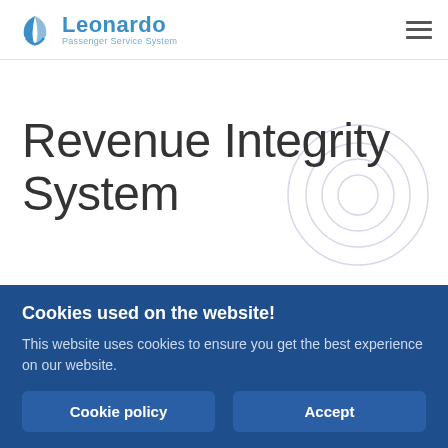Leonardo Passenger Service System
Revenue Integrity System
Revenue Integrity solution enables airlines to
Cookies used on the website!
This website uses cookies to ensure you get the best experience on our website.
Cookie policy
Accept